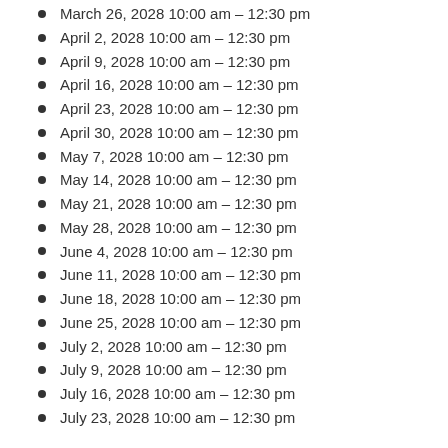March 26, 2028 10:00 am – 12:30 pm
April 2, 2028 10:00 am – 12:30 pm
April 9, 2028 10:00 am – 12:30 pm
April 16, 2028 10:00 am – 12:30 pm
April 23, 2028 10:00 am – 12:30 pm
April 30, 2028 10:00 am – 12:30 pm
May 7, 2028 10:00 am – 12:30 pm
May 14, 2028 10:00 am – 12:30 pm
May 21, 2028 10:00 am – 12:30 pm
May 28, 2028 10:00 am – 12:30 pm
June 4, 2028 10:00 am – 12:30 pm
June 11, 2028 10:00 am – 12:30 pm
June 18, 2028 10:00 am – 12:30 pm
June 25, 2028 10:00 am – 12:30 pm
July 2, 2028 10:00 am – 12:30 pm
July 9, 2028 10:00 am – 12:30 pm
July 16, 2028 10:00 am – 12:30 pm
July 23, 2028 10:00 am – 12:30 pm